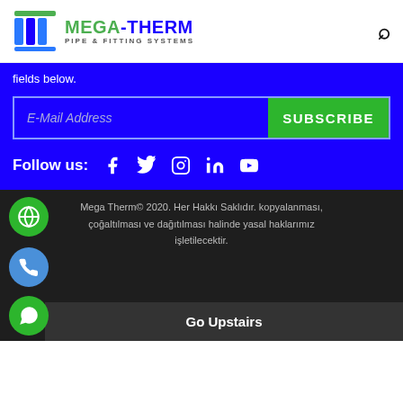Mega-Therm Pipe & Fitting Systems
fields below.
E-Mail Address [SUBSCRIBE button]
Follow us: [Facebook] [Twitter] [Instagram] [LinkedIn] [YouTube]
Mega Therm© 2020. Her Hakkı Saklıdır. kopyalanması, çoğaltılması ve dağıtılması halinde yasal haklarımız işletilecektir.
Go Upstairs